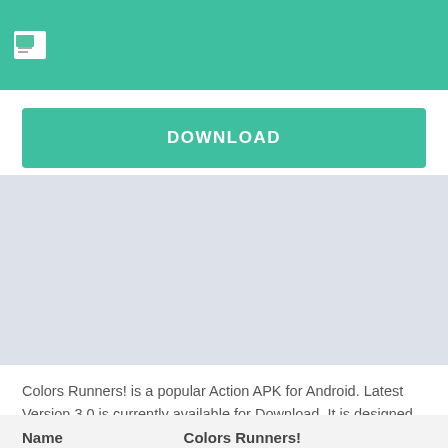[Figure (logo): White flag/image icon on teal/green header bar]
DOWNLOAD
[Figure (other): Light blue-grey advertisement placeholder area]
Colors Runners! is a popular Action APK for Android. Latest Version 3.0 is currently available for Download. It is designed and developed by Rollic Games. Download Colors Runners! MOD APK and enjoy ultimate features.
| Name | Colors Runners! |